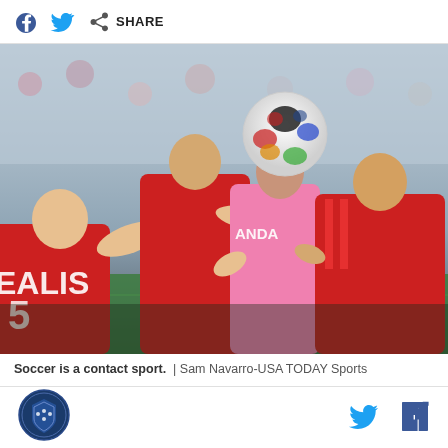Share
[Figure (photo): Soccer players in red jerseys competing for a header with a player in pink jersey, with the ball visible above them. The player in red on the left has 'EALIS' and number visible on jersey. Action shot from an MLS match.]
Soccer is a contact sport.  |  Sam Navarro-USA TODAY Sports
Logo and social share icons (Twitter, Facebook)